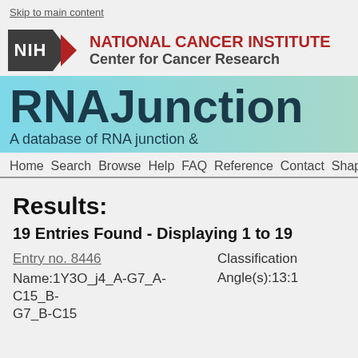Skip to main content
[Figure (logo): NIH National Cancer Institute Center for Cancer Research logo with dark grey NIH box, red chevron arrow, and text]
[Figure (screenshot): RNAJunction banner - A database of RNA junction on cyan-to-teal gradient background]
Home Search Browse Help FAQ Reference Contact Shapiro
Results:
19 Entries Found - Displaying 1 to 19
Entry no. 8446
Name:1Y3O_j4_A-G7_A-C15_B-G7_B-C15
Classification
Angle(s):13:1